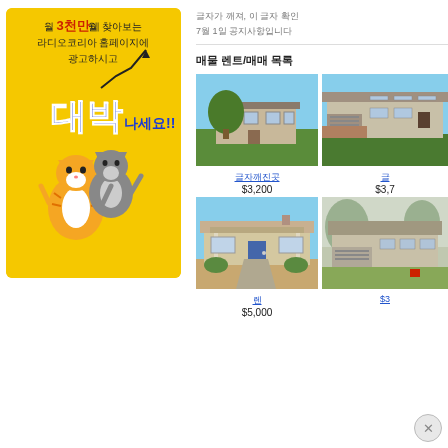[Figure (illustration): Korean advertisement banner in yellow background featuring text '월 3천만이 찾아보는 라디오코리아 홈페이지에 광고하시고 대박나세요!!' with cartoon tiger and cat characters and upward trending chart arrow.]
글자가 깨져, 이 글자 확인
7월 1일 공지사항입니다
매물 렌트/매매 목록
[Figure (photo): Two-story beige house with large tree in front yard, blue sky background]
[Figure (photo): Two-story house with garage, brick accents, blue sky]
글자깨진곳
$3,200
글
$3,7
[Figure (photo): Single-story bungalow style house with front porch, blue door]
[Figure (photo): Two-story house with palm trees and garage]
렌
$5,000
$3